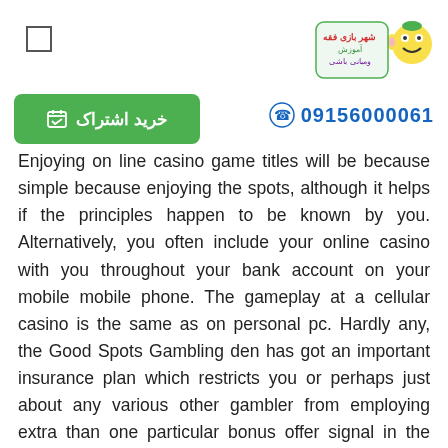[Figure (logo): Logo with Persian text and colorful cartoon character, yellow and green]
[Figure (other): Green subscribe button with Persian text 'خرید اشتراک' and calendar icon]
09156000061
Enjoying on line casino game titles will be because simple because enjoying the spots, although it helps if the principles happen to be known by you. Alternatively, you often include your online casino with you throughout your bank account on your mobile mobile phone. The gameplay at a cellular casino is the same as on personal pc. Hardly any, the Good Spots Gambling den has got an important insurance plan which restricts you or perhaps just about any various other gambler from employing extra than one particular bonus offer signal in the one particular period. Positive, just about all of our leading rated